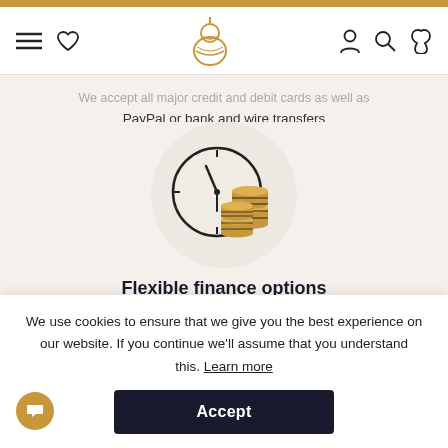Navigation header with menu, heart, logo, account, search, and guitar icons
We accept all major credit and debit cards as well as PayPal or bank and wire transfers
[Figure (illustration): A clock showing approximately 11:58 with two stacks of gold coins in front, inside a circular beige background]
Flexible finance options
We offer an array of flexible finance options so that you can secure your dream guitar.
We use cookies to ensure that we give you the best experience on our website. If you continue we'll assume that you understand this. Learn more
Accept